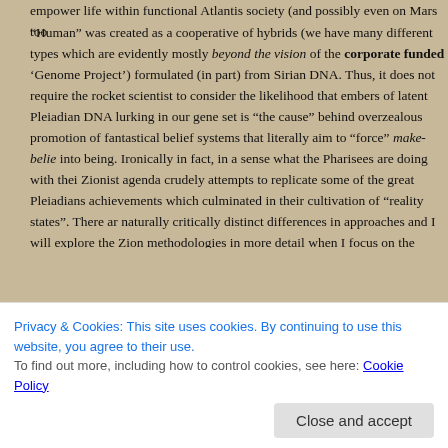empower life within functional Atlantis society (and possibly even on Mars too
“Human” was created as a cooperative of hybrids (we have many different types which are evidently mostly beyond the vision of the corporate funded ‘Genome Project’) formulated (in part) from Sirian DNA. Thus, it does not require the rocket scientist to consider the likelihood that embers of latent Pleiadian DNA lurking in our gene set is “the cause” behind overzealous promotion of fantastical belief systems that literally aim to “force” make-belie into being. Ironically in fact, in a sense what the Pharisees are doing with thei Zionist agenda crudely attempts to replicate some of the great Pleiadians achievements which culminated in their cultivation of “reality states”. There ar naturally critically distinct differences in approaches and I will explore the Zion methodologies in more detail when I focus on the tamaras.
To simply summarise now, the Pleiadians coordinated uniform sovereign will t ensure group ambition encompassed civilised society in entirety, whereas Zionist “shepherds” deliver threats of fear or reward as coordinated “incentive for their sheep with the ideal of ultimately forcing peak body order over their
Privacy & Cookies: This site uses cookies. By continuing to use this website, you agree to their use.
To find out more, including how to control cookies, see here: Cookie Policy
Close and accept